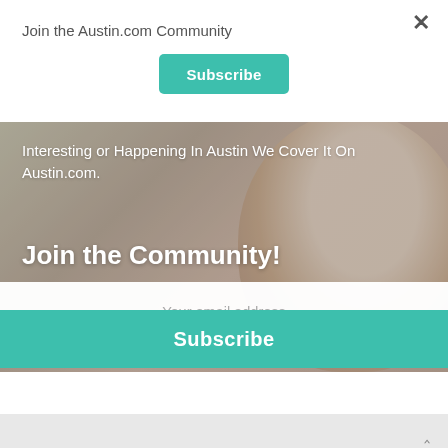Join the Austin.com Community
Subscribe
[Figure (photo): Background photo of a smiling young woman with brown hair, slightly blurred, serving as background for the community signup modal]
Interesting or Happening In Austin We Cover It On Austin.com.
Join the Community!
Your email address
Subscribe